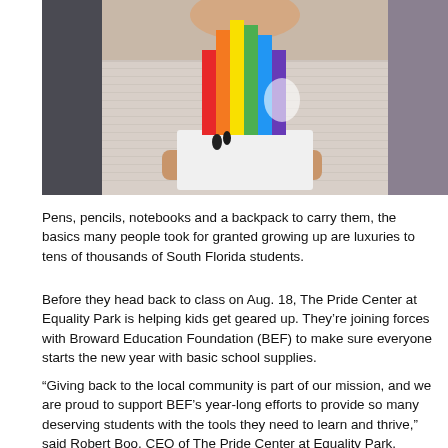[Figure (photo): A man in a light striped shirt holding a colorful rainbow-striped art piece or 3D printed object with small figurines at its base]
Pens, pencils, notebooks and a backpack to carry them, the basics many people took for granted growing up are luxuries to tens of thousands of South Florida students.
Before they head back to class on Aug. 18, The Pride Center at Equality Park is helping kids get geared up. They're joining forces with Broward Education Foundation (BEF) to make sure everyone starts the new year with basic school supplies.
“Giving back to the local community is part of our mission, and we are proud to support BEF’s year-long efforts to provide so many deserving students with the tools they need to learn and thrive,” said Robert Boo, CEO of The Pride Center at Equality Park. “Basic school supplies like backpacks, pens, pencils, notebooks, erasers, glue sticks are a luxury for a large segment of children in our community. We want to level the learning field with our school